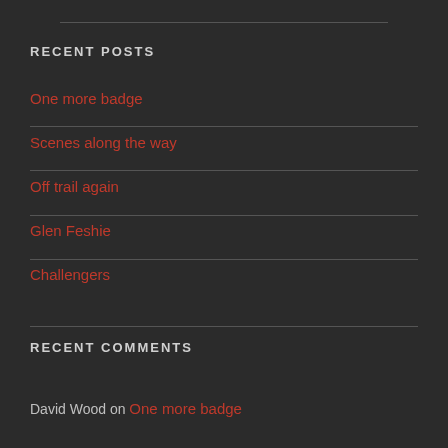RECENT POSTS
One more badge
Scenes along the way
Off trail again
Glen Feshie
Challengers
RECENT COMMENTS
David Wood on One more badge